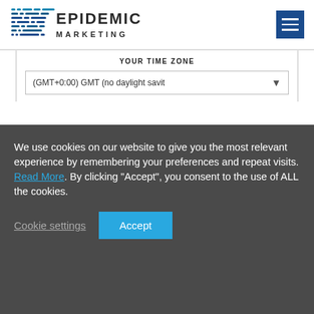[Figure (logo): Epidemic Marketing logo with blue dot-matrix style graphic and text]
YOUR TIME ZONE
(GMT+0:00) GMT (no daylight savit...
We use cookies on our website to give you the most relevant experience by remembering your preferences and repeat visits. Read More. By clicking "Accept", you consent to the use of ALL the cookies.
Cookie settings
Accept